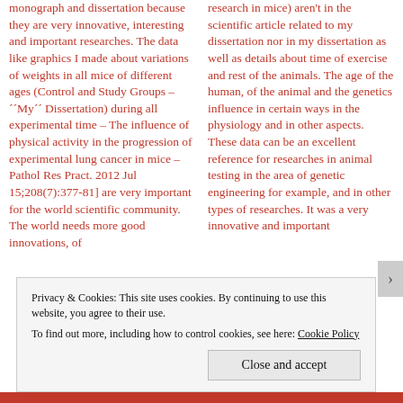monograph and dissertation because they are very innovative, interesting and important researches. The data like graphics I made about variations of weights in all mice of different ages (Control and Study Groups – ´´My´´ Dissertation) during all experimental time – The influence of physical activity in the progression of experimental lung cancer in mice – Pathol Res Pract. 2012 Jul 15;208(7):377-81] are very important for the world scientific community. The world needs more good innovations, of
research in mice) aren't in the scientific article related to my dissertation nor in my dissertation as well as details about time of exercise and rest of the animals. The age of the human, of the animal and the genetics influence in certain ways in the physiology and in other aspects. These data can be an excellent reference for researches in animal testing in the area of genetic engineering for example, and in other types of researches. It was a very innovative and important
Privacy & Cookies: This site uses cookies. By continuing to use this website, you agree to their use.
To find out more, including how to control cookies, see here: Cookie Policy
Close and accept